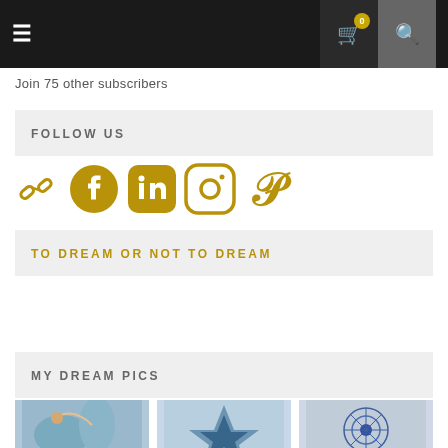Navigation bar with hamburger menu, cart (0), and search icons
Join 75 other subscribers
FOLLOW US
[Figure (illustration): Row of social media icons in gold: chain/link, Facebook, LinkedIn, Instagram, Pinterest]
TO DREAM OR NOT TO DREAM
MY DREAM PICS
[Figure (photo): Three thumbnail photos of dream-themed artwork: first shows bird/nature painting, second shows geometric blue star pattern, third shows mandala/peacock mandala artwork]